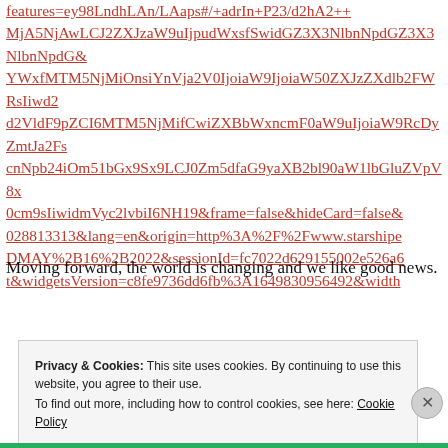features=ey98LndhLAn/LAaps#/+adrIn+P23/d2hA2++MjA5NjAwLCJ2ZXJzaW9uIjpudWxsfSwidGZ3X3NlbnNpdG&YWxfMTM5NjMiOnsiYnVja2V0IjoiaW5WZXJzZXdlb2FWRsIiwd2VldF9pZCI6MTM5NjMifCwiZXBbWxncmF0aW9uIjoiaW9RcDyZmtJa2FsZXJzYzVlbGFrPXUMmNOcGIyNGlPbTUxYkd4OUxDSjBab2RmYUc5eWFYcHZibDkwYVcxbGJHbHVaVjh4cG0wY205c0lpd2RtVnlnMmx2YmlJNk5IMTK5JmZy YW1lPWZhbHNlJmhpZGVDYXJkPWZhbHNlJm028813313&lang=en&origin=http%3A%2F%2Fwww.starshipe DMAY%2B16%2B2022&sessionId=fc7022d629155002e526a6t&widgetsVersion=c8fe9736dd6fb%3A1649830956492&width
Moving forward, the world is changing and we like good news.
Privacy & Cookies: This site uses cookies. By continuing to use this website, you agree to their use. To find out more, including how to control cookies, see here: Cookie Policy